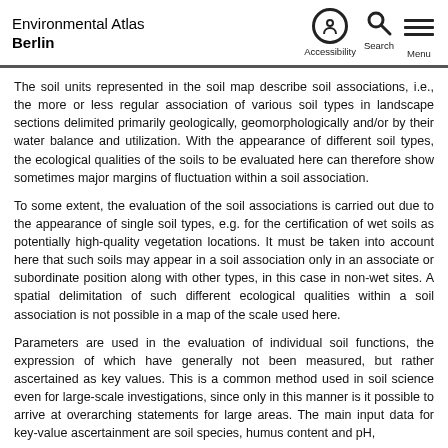Environmental Atlas Berlin
The soil units represented in the soil map describe soil associations, i.e., the more or less regular association of various soil types in landscape sections delimited primarily geologically, geomorphologically and/or by their water balance and utilization. With the appearance of different soil types, the ecological qualities of the soils to be evaluated here can therefore show sometimes major margins of fluctuation within a soil association.
To some extent, the evaluation of the soil associations is carried out due to the appearance of single soil types, e.g. for the certification of wet soils as potentially high-quality vegetation locations. It must be taken into account here that such soils may appear in a soil association only in an associate or subordinate position along with other types, in this case in non-wet sites. A spatial delimitation of such different ecological qualities within a soil association is not possible in a map of the scale used here.
Parameters are used in the evaluation of individual soil functions, the expression of which have generally not been measured, but rather ascertained as key values. This is a common method used in soil science even for large-scale investigations, since only in this manner is it possible to arrive at overarching statements for large areas. The main input data for key-value ascertainment are soil species, humus content and pH,